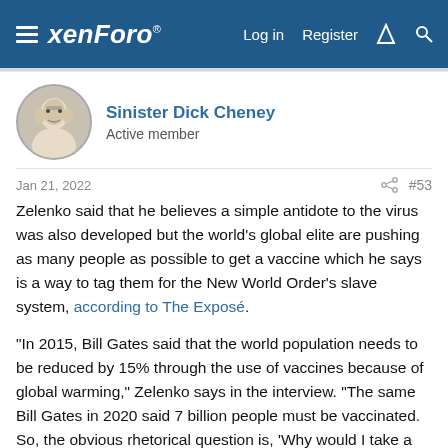xenForo  Log in  Register
Sinister Dick Cheney
Active member
Jan 21, 2022  #53
Zelenko said that he believes a simple antidote to the virus was also developed but the world's global elite are pushing as many people as possible to get a vaccine which he says is a way to tag them for the New World Order's slave system, according to The Exposé.
“In 2015, Bill Gates said that the world population needs to be reduced by 15% through the use of vaccines because of global warming,” Zelenko says in the interview. “The same Bill Gates in 2020 said 7 billion people must be vaccinated. So, the obvious rhetorical question is, ‘Why would I take a vaccine for my health from someone who’s advocating the use of vaccines to reduce the world population?’”